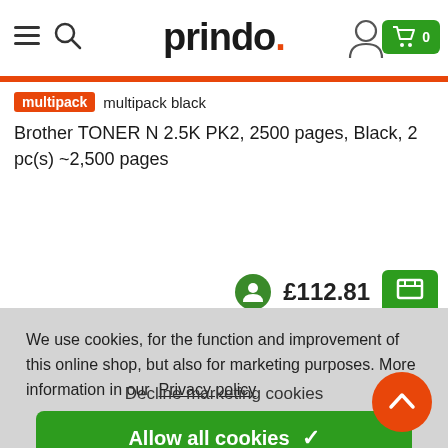prindo.
multipack  multipack black
Brother TONER N 2.5K PK2, 2500 pages, Black, 2 pc(s) ~2,500 pages
£112.81
We use cookies, for the function and improvement of this online shop, but also for marketing purposes. More information in our  Privacy policy
Decline marketing cookies
Allow all cookies ✓